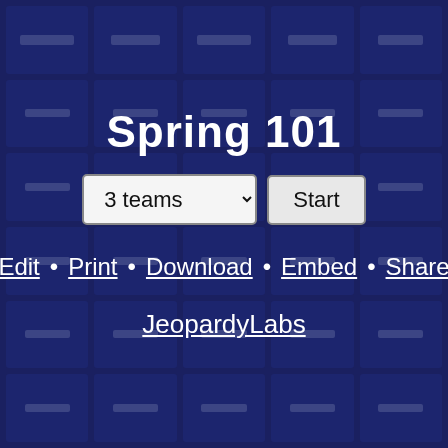[Figure (screenshot): Jeopardy-style game board grid background with dark blue cells arranged in 5 columns and 6 rows, blurred, showing faint text placeholders in each cell]
Spring 101
3 teams [dropdown] Start [button]
Edit • Print • Download • Embed • Share
JeopardyLabs